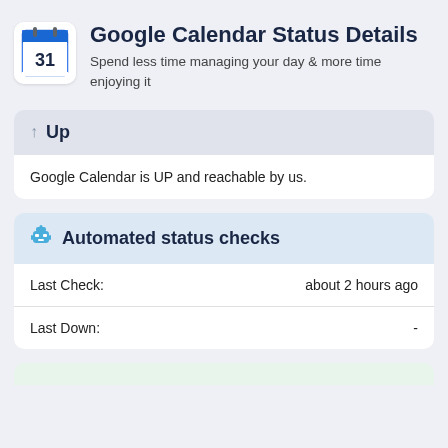[Figure (logo): Google Calendar icon with blue background and '31' date displayed]
Google Calendar Status Details
Spend less time managing your day & more time enjoying it
↑ Up
Google Calendar is UP and reachable by us.
🤖 Automated status checks
| Last Check: | about 2 hours ago |
| Last Down: | - |